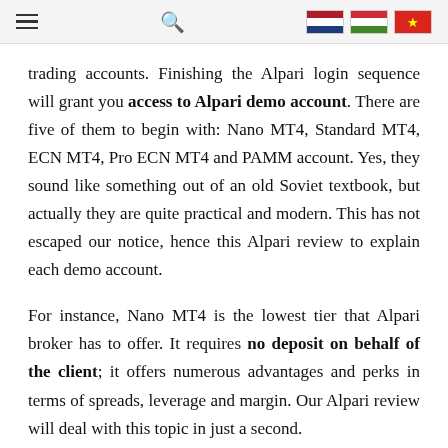[hamburger menu] [search icon] [NL flag] [HU flag] [VN flag]
trading accounts. Finishing the Alpari login sequence will grant you access to Alpari demo account. There are five of them to begin with: Nano MT4, Standard MT4, ECN MT4, Pro ECN MT4 and PAMM account. Yes, they sound like something out of an old Soviet textbook, but actually they are quite practical and modern. This has not escaped our notice, hence this Alpari review to explain each demo account.
For instance, Nano MT4 is the lowest tier that Alpari broker has to offer. It requires no deposit on behalf of the client; it offers numerous advantages and perks in terms of spreads, leverage and margin. Our Alpari review will deal with this topic in just a second.
Standard MT4 matches the offer and raises it in terms of leverage, spread and stop out level. However, this comes at a cost, as the